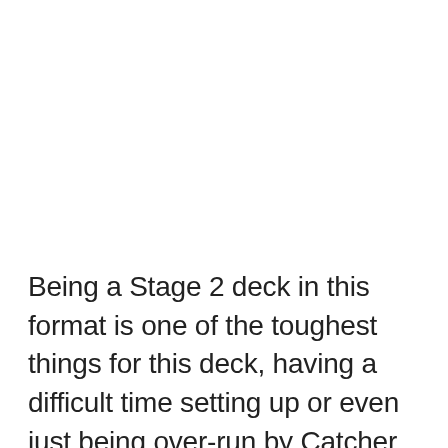Being a Stage 2 deck in this format is one of the toughest things for this deck, having a difficult time setting up or even just being over-run by Catcher Night Spears, can make it very hard for you to setup. As long as you can